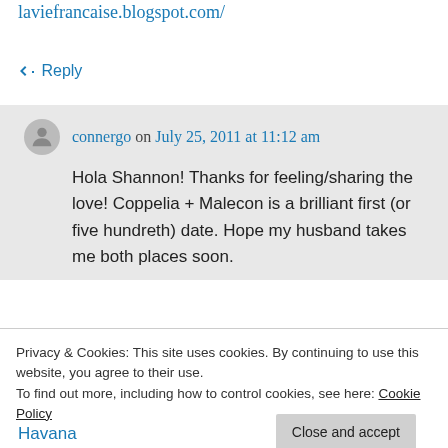blog on life in France is here: http://shannonlaviefrancaise.blogspot.com/
↳ Reply
connergo on July 25, 2011 at 11:12 am
Hola Shannon! Thanks for feeling/sharing the love! Coppelia + Malecon is a brilliant first (or five hundreth) date. Hope my husband takes me both places soon.
Privacy & Cookies: This site uses cookies. By continuing to use this website, you agree to their use.
To find out more, including how to control cookies, see here: Cookie Policy
Close and accept
Havana